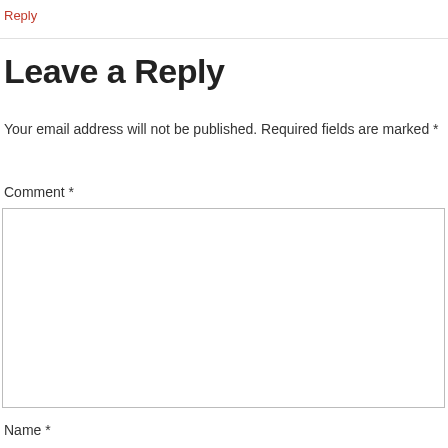Reply
Leave a Reply
Your email address will not be published. Required fields are marked *
Comment *
Name *